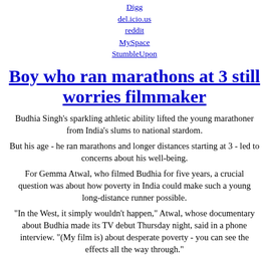Digg
del.icio.us
reddit
MySpace
StumbleUpon
Boy who ran marathons at 3 still worries filmmaker
Budhia Singh's sparkling athletic ability lifted the young marathoner from India's slums to national stardom.
But his age - he ran marathons and longer distances starting at 3 - led to concerns about his well-being.
For Gemma Atwal, who filmed Budhia for five years, a crucial question was about how poverty in India could make such a young long-distance runner possible.
“In the West, it simply wouldn’t happen,” Atwal, whose documentary about Budhia made its TV debut Thursday night, said in a phone interview. “(My film is) about desperate poverty - you can see the effects all the way through.”